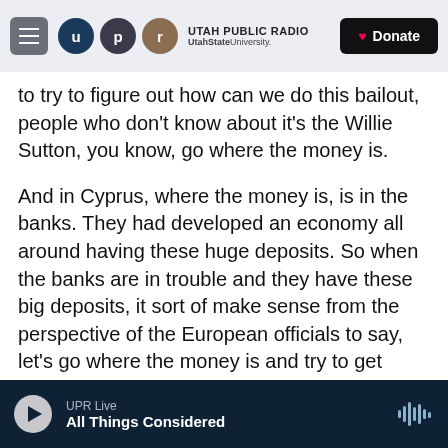Utah Public Radio | UtahStateUniversity. | Donate
to try to figure out how can we do this bailout, people who don't know about it's the Willie Sutton, you know, go where the money is.
And in Cyprus, where the money is, is in the banks. They had developed an economy all around having these huge deposits. So when the banks are in trouble and they have these big deposits, it sort of make sense from the perspective of the European officials to say, let's go where the money is and try to get some of those deposits to help pay for these bailouts.
NEARY: Oh, back to your domino's analogy. What
UPR Live | All Things Considered